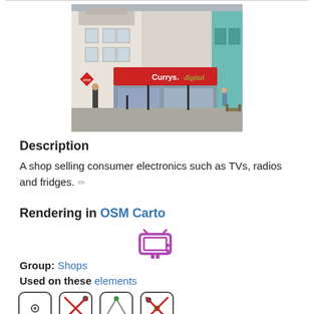[Figure (photo): Photo of a Currys.digital retail store front on a street]
Description
A shop selling consumer electronics such as TVs, radios and fridges. ✏
Rendering in OSM Carto
[Figure (illustration): Purple/magenta TV icon used in OSM Carto rendering]
Group: Shops
Used on these elements
[Figure (illustration): Four OSM element type icons: node, way, area (with red cross), relation]
Useful combination
name=*